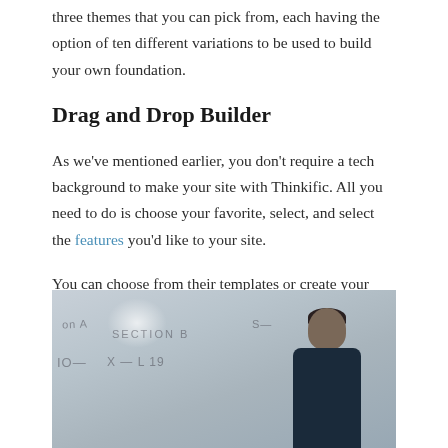three themes that you can pick from, each having the option of ten different variations to be used to build your own foundation.
Drag and Drop Builder
As we've mentioned earlier, you don't require a tech background to make your site with Thinkific. All you need to do is choose your favorite, select, and select the features you'd like to your site.
You can choose from their templates or create your own designs from scratch. You can drag and drop elements such as banners, countdown timers, calls-to-action or checklists.
[Figure (photo): A person looking down at something, standing in front of a whiteboard with handwritten text including 'Section B' and other notes. The person has short dark hair and is wearing a dark blue shirt.]